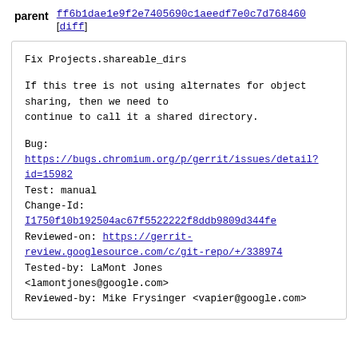parent  ff6b1dae1e9f2e7405690c1aeedf7e0c7d768460 [diff]
Fix Projects.shareable_dirs

If this tree is not using alternates for object sharing, then we need to continue to call it a shared directory.

Bug:
https://bugs.chromium.org/p/gerrit/issues/detail?id=15982
Test: manual
Change-Id:
I1750f10b192504ac67f5522222f8ddb9809d344fe
Reviewed-on: https://gerrit-review.googlesource.com/c/git-repo/+/338974
Tested-by: LaMont Jones <lamontjones@google.com>
Reviewed-by: Mike Frysinger <vapier@google.com>